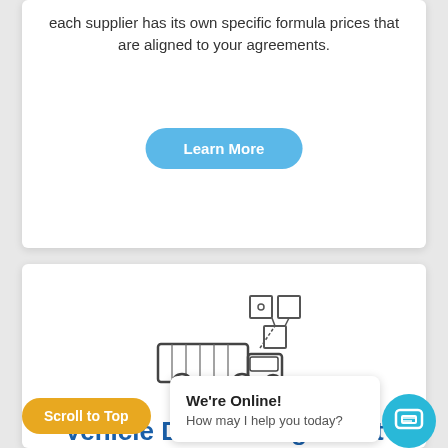each supplier has its own specific formula prices that are aligned to your agreements.
[Figure (screenshot): Learn More button - blue rounded rectangle]
[Figure (illustration): Line art icon of a delivery truck with connected data/network squares above it]
Vehicle Data Management
ensure complian... icl... at...
[Figure (screenshot): Scroll to Top golden button at bottom left]
We're Online! How may I help you today?